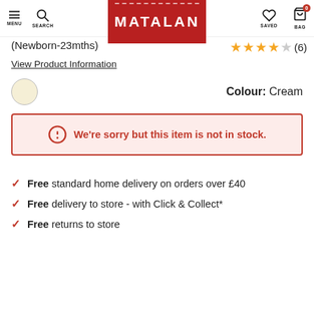MATALAN — MENU, SEARCH, SAVED, BAG
(Newborn-23mths)
★★★★☆ (6)
View Product Information
Colour: Cream
We're sorry but this item is not in stock.
Free standard home delivery on orders over £40
Free delivery to store - with Click & Collect*
Free returns to store